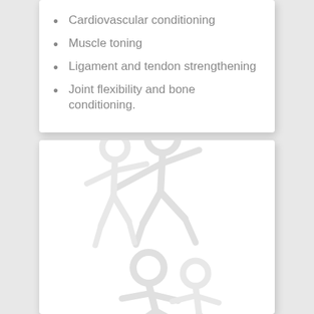Cardiovascular conditioning
Muscle toning
Ligament and tendon strengthening
Joint flexibility and bone conditioning.
[Figure (illustration): Faint watermark-style illustration of human figures in exercise/movement poses, very light gray on white background, two separate figure groups stacked vertically]